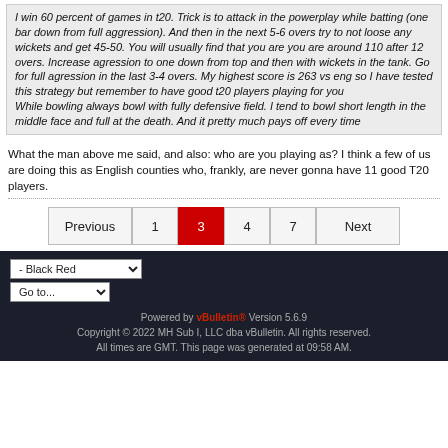I win 60 percent of games in t20. Trick is to attack in the powerplay while batting (one bar down from full aggression). And then in the next 5-6 overs try to not loose any wickets and get 45-50. You will usually find that you are you are around 110 after 12 overs. Increase agression to one down from top and then with wickets in the tank. Go for full agression in the last 3-4 overs. My highest score is 263 vs eng so I have tested this strategy but remember to have good t20 players playing for you While bowling always bowl with fully defensive field. I tend to bowl short length in the middle face and full at the death. And it pretty much pays off every time
What the man above me said, and also: who are you playing as? I think a few of us are doing this as English counties who, frankly, are never gonna have 11 good T20 players.
Previous 1 3 4 7 Next
Powered by vBulletin® Version 5.6.9
Copyright © 2022 MH Sub I, LLC dba vBulletin. All rights reserved.
All times are GMT. This page was generated at 09:58 AM.